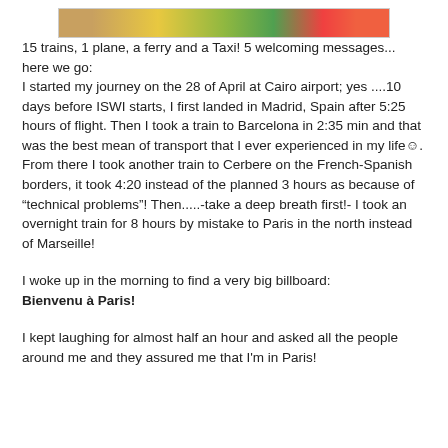[Figure (illustration): Partial top strip of a colorful image (map or banner) visible at the top of the page]
15 trains, 1 plane, a ferry and a Taxi! 5 welcoming messages... here we go:
I started my journey on the 28 of April at Cairo airport; yes ....10 days before ISWI starts, I first landed in Madrid, Spain after 5:25 hours of flight. Then I took a train to Barcelona in 2:35 min and that was the best mean of transport that I ever experienced in my life☺. From there I took another train to Cerbere on the French-Spanish borders, it took 4:20 instead of the planned 3 hours as because of “technical problems”! Then.....-take a deep breath first!- I took an overnight train for 8 hours by mistake to Paris in the north instead of Marseille!
I woke up in the morning to find a very big billboard:
Bienvenu à Paris!
I kept laughing for almost half an hour and asked all the people around me and they assured me that I'm in Paris!